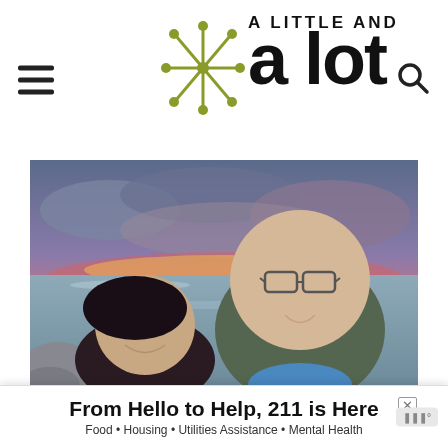[Figure (logo): Blog header logo: starburst/asterisk icon in olive green with 'A Little and a lot' text, hamburger menu icon on left, search icon on right]
[Figure (photo): Selfie of a couple smiling at camera with a dramatic sunset sky over water/ocean in background. Woman on left with dark hair, man on right wearing glasses and green jacket.]
From Hello to Help, 211 is Here
Food • Housing • Utilities Assistance • Mental Health